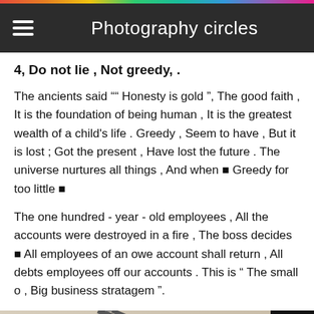Photography circles
4, Do not lie , Not greedy, .
The ancients said ““ Honesty is gold ", The good faith , It is the foundation of being human , It is the greatest wealth of a child's life . Greedy , Seem to have , But it is lost ; Got the present , Have lost the future . The universe nurtures all things , And when ■ Greedy for too little ■
The one hundred - year - old employees , All the accounts were destroyed in a fire , The boss decides ■ All employees of an owe account shall return , All debts employees off our accounts . This is “ The small o , Big business stratagem ”.
[Figure (photo): Partial image showing Chinese calligraphy characters 星期 on the left and a diagonal architectural or structural element on the right, with muted earthy background tones.]